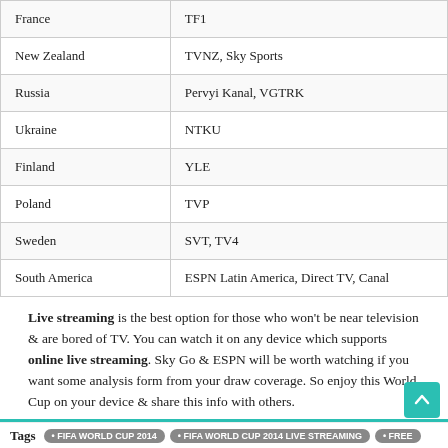| Country | Broadcaster |
| --- | --- |
| France | TF1 |
| New Zealand | TVNZ, Sky Sports |
| Russia | Pervyi Kanal, VGTRK |
| Ukraine | NTKU |
| Finland | YLE |
| Poland | TVP |
| Sweden | SVT, TV4 |
| South America | ESPN Latin America, Direct TV, Canal |
Live streaming is the best option for those who won't be near television & are bored of TV. You can watch it on any device which supports online live streaming. Sky Go & ESPN will be worth watching if you want some analysis form from your draw coverage. So enjoy this World Cup on your device & share this info with others.
Tags • FIFA WORLD CUP 2014 • FIFA WORLD CUP 2014 LIVE STREAMING • FREE